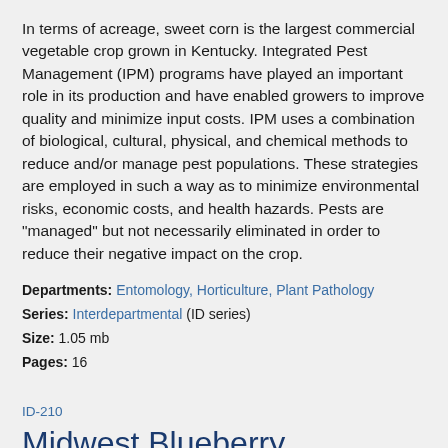In terms of acreage, sweet corn is the largest commercial vegetable crop grown in Kentucky. Integrated Pest Management (IPM) programs have played an important role in its production and have enabled growers to improve quality and minimize input costs. IPM uses a combination of biological, cultural, physical, and chemical methods to reduce and/or manage pest populations. These strategies are employed in such a way as to minimize environmental risks, economic costs, and health hazards. Pests are "managed" but not necessarily eliminated in order to reduce their negative impact on the crop.
Departments: Entomology, Horticulture, Plant Pathology
Series: Interdepartmental (ID series)
Size: 1.05 mb
Pages: 16
ID-210
Midwest Blueberry Production Guide
5/12/2014 (reprinted)
Authors: Tom Barnes, Cheryl Kaiser, Chris Smigell, John Strang, Nicole Ward